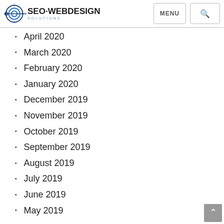SEO WEBDESIGN SOLUTIONS — MENU [search]
April 2020
March 2020
February 2020
January 2020
December 2019
November 2019
October 2019
September 2019
August 2019
July 2019
June 2019
May 2019